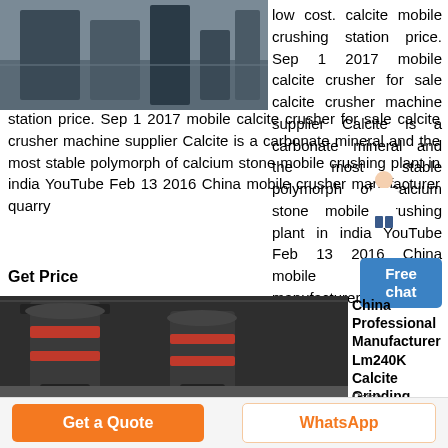[Figure (photo): Industrial machinery/crushing equipment in a factory setting, partial view at top of page]
low cost. calcite mobile crushing station price. Sep 1 2017 mobile calcite crusher for sale calcite crusher machine supplier Calcite is a carbonate mineral and the most stable polymorph of calcium stone mobile crushing plant in india YouTube Feb 13 2016 China mobile crusher manufacturer quarry
Get Price
Free chat
[Figure (photo): China Professional Manufacturer Lm240K Calcite Grinding mill machines, large dark industrial grinding equipment in a factory]
China Professional Manufacturer Lm240K Calcite Grinding
China Professional Manufacturer Lm240K Calcite...
Get a Quote
WhatsApp